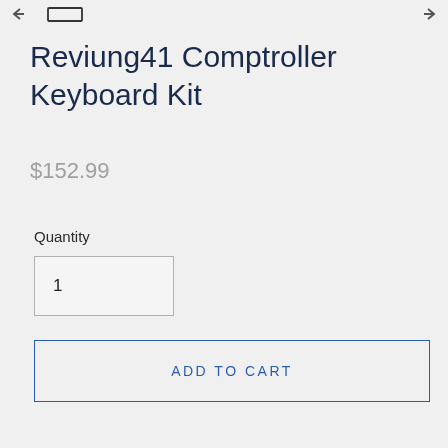Reviung41 Comptroller Keyboard Kit
$152.99
Quantity
1
ADD TO CART